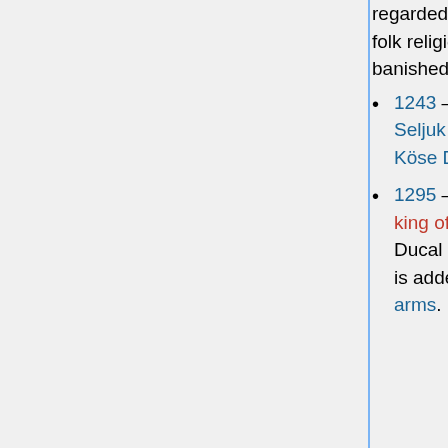regarded as the founder of a folk religion Shugendō, is banished to Izu Ōshima.
1243 – Mongols defeat the Seljuk Turks at the Battle of Köse Dağ.
1295 – Przemysł II crowned king of Poland, following Ducal period. The white eagle is added to the Polish coat of arms.